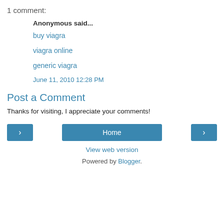1 comment:
Anonymous said...
buy viagra
viagra online
generic viagra
June 11, 2010 12:28 PM
Post a Comment
Thanks for visiting, I appreciate your comments!
< Home > View web version
Powered by Blogger.